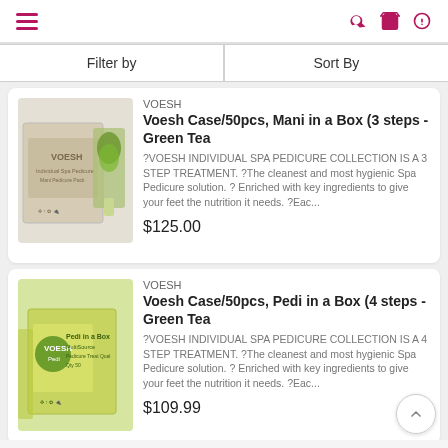[Figure (screenshot): Mobile e-commerce navigation bar with hamburger menu icon on left and search, cart, settings icons on right in pink/magenta color]
| Filter by | Sort By |
| --- | --- |
[Figure (photo): Voesh product box - beige/tan colored box showing Mani in a Box 3 steps Green Tea with green tea leaf imagery]
VOESH
Voesh Case/50pcs, Mani in a Box (3 steps - Green Tea
?VOESH INDIVIDUAL SPA PEDICURE COLLECTION IS A 3 STEP TREATMENT. ?The cleanest and most hygienic Spa Pedicure solution. ? Enriched with key ingredients to give your feet the nutrition it needs. ?Eac...
$125.00
[Figure (photo): Voesh product box - yellow/green colored box showing Pedi in a Box 4 steps Green Tea with green tea imagery]
VOESH
Voesh Case/50pcs, Pedi in a Box (4 steps - Green Tea
?VOESH INDIVIDUAL SPA PEDICURE COLLECTION IS A 4 STEP TREATMENT. ?The cleanest and most hygienic Spa Pedicure solution. ? Enriched with key ingredients to give your feet the nutrition it needs. ?Eac...
$109.99